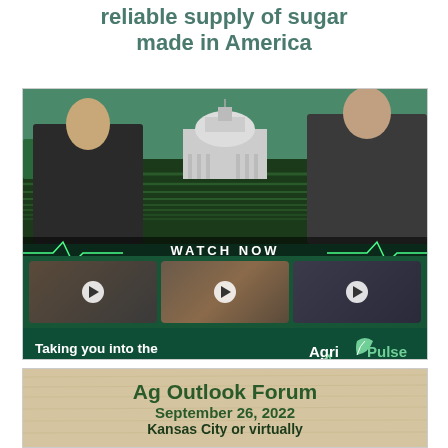reliable supply of sugar made in America
[Figure (screenshot): Agri-Pulse Newsmakers advertisement showing two men in a TV studio with a Capitol building backdrop, thumbnail video strip, WATCH NOW text, and tagline 'Taking you into the heart of ag policy.' with Agri-Pulse Newsmakers logo]
[Figure (screenshot): Ag Outlook Forum advertisement on wood-grain background: 'Ag Outlook Forum / September 26, 2022 / Kansas City or virtually']